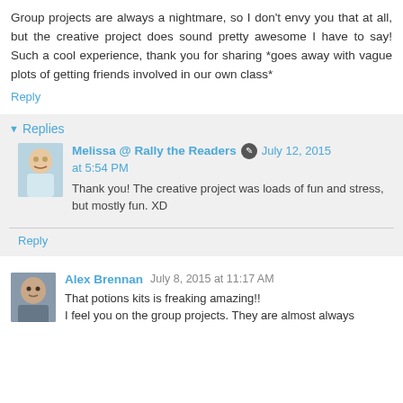Group projects are always a nightmare, so I don't envy you that at all, but the creative project does sound pretty awesome I have to say! Such a cool experience, thank you for sharing *goes away with vague plots of getting friends involved in our own class*
Reply
▾ Replies
Melissa @ Rally the Readers · July 12, 2015 at 5:54 PM
Thank you! The creative project was loads of fun and stress, but mostly fun. XD
Reply
Alex Brennan  July 8, 2015 at 11:17 AM
That potions kits is freaking amazing!! I feel you on the group projects. They are almost always...